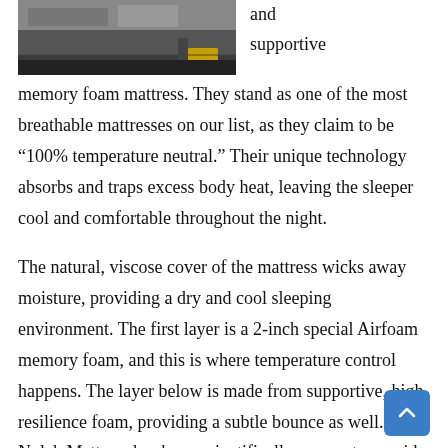[Figure (photo): Photo of a mattress/furniture in a store setting, partially cropped at top]
and supportive memory foam mattress. They stand as one of the most breathable mattresses on our list, as they claim to be “100% temperature neutral.” Their unique technology absorbs and traps excess body heat, leaving the sleeper cool and comfortable throughout the night.
The natural, viscose cover of the mattress wicks away moisture, providing a dry and cool sleeping environment. The first layer is a 2-inch special Airfoam memory foam, and this is where temperature control happens. The layer below is made from supportive, high-resilience foam, providing a subtle bounce as well. The Nolah Mattress has been scientifically proven to provide 4x less peak pressure on the hips, shoulders, and back than other memory foam mattresses.